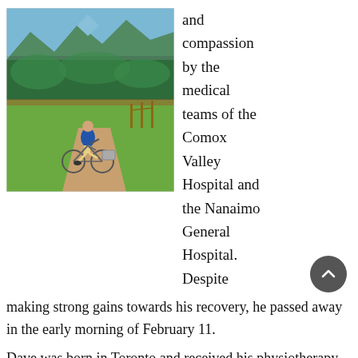[Figure (photo): A man riding a bicycle on a dirt path through a lush green landscape with mountains and trees in the background.]
and compassion by the medical teams of the Comox Valley Hospital and the Nanaimo General Hospital. Despite making strong gains towards his recovery, he passed away in the early morning of February 11.
Dave was born in Toronto and received his physiotherapy degree from the University of Toronto in 1978 . In 1980 he